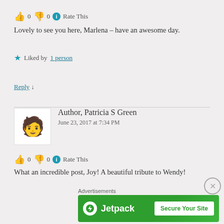👍 0 👎 0 ℹ Rate This
Lovely to see you here, Marlena – have an awesome day.
★ Liked by 1 person
Reply ↓
Author, Patricia S Green
June 23, 2017 at 7:34 PM
👍 0 👎 0 ℹ Rate This
What an incredible post, Joy! A beautiful tribute to Wendy!
Advertisements
[Figure (other): Jetpack advertisement banner with green background showing Jetpack logo and 'Secure Your Site' button]